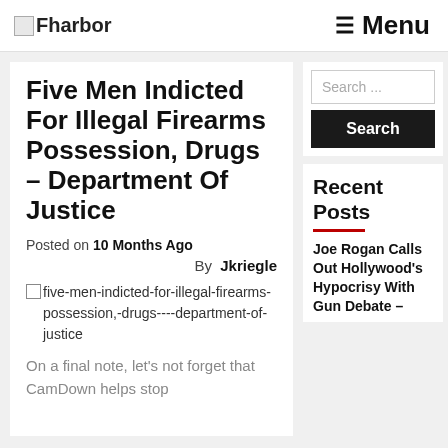Fharbor  ≡ Menu
Five Men Indicted For Illegal Firearms Possession, Drugs – Department Of Justice
Posted on 10 Months Ago
By  Jkriegle
five-men-indicted-for-illegal-firearms-possession,-drugs----department-of-justice
On a final note, let's not forget that CamDown helps stop
Search ...
Recent Posts
Joe Rogan Calls Out Hollywood's Hypocrisy With Gun Debate –